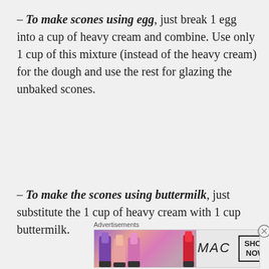– To make scones using egg, just break 1 egg into a cup of heavy cream and combine. Use only 1 cup of this mixture (instead of the heavy cream) for the dough and use the rest for glazing the unbaked scones.
– To make the scones using buttermilk, just substitute the 1 cup of heavy cream with 1 cup buttermilk.
Advertisements
[Figure (photo): MAC cosmetics advertisement banner with lipsticks on the left, MAC logo in the center, and a 'SHOP NOW' button box on the right.]